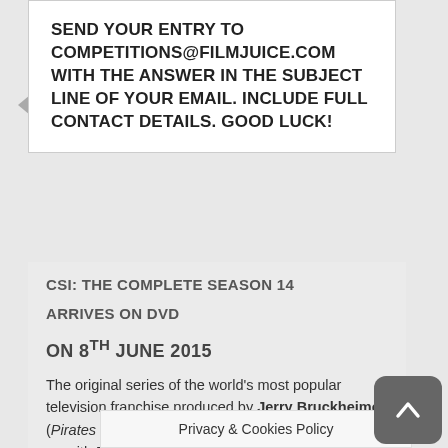SEND YOUR ENTRY TO COMPETITIONS@FILMJUICE.COM WITH THE ANSWER IN THE SUBJECT LINE OF YOUR EMAIL. INCLUDE FULL CONTACT DETAILS. GOOD LUCK!
CSI: THE COMPLETE SEASON 14
ARRIVES ON DVD
ON 8TH JUNE 2015
The original series of the world's most popular television franchise produced by Jerry Bruckheimer (Pirates of the Caribbean, The Lone Ranger) picks up with D.B. Russell and the team for another season packed with Sin City's most intense and complex crimes. Don't miss any of the drama when CSI: THE COMPLETE SEASON 14 comes to DVD on 8th June, courtesy of Entertainment One.
Season 14 sees the return of Ted Danson (Cheers, Saving Private Ryan) as D.B. Russell and Elisab…
Privacy & Cookies Policy